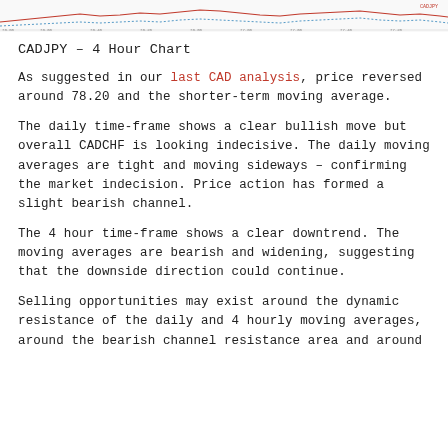[Figure (continuous-plot): CADJPY 4-hour candlestick/line chart strip at the top of the page, showing price action with axis labels and ticker data.]
CADJPY – 4 Hour Chart
As suggested in our last CAD analysis, price reversed around 78.20 and the shorter-term moving average.
The daily time-frame shows a clear bullish move but overall CADCHF is looking indecisive. The daily moving averages are tight and moving sideways – confirming the market indecision. Price action has formed a slight bearish channel.
The 4 hour time-frame shows a clear downtrend. The moving averages are bearish and widening, suggesting that the downside direction could continue.
Selling opportunities may exist around the dynamic resistance of the daily and 4 hourly moving averages, around the bearish channel resistance area and around